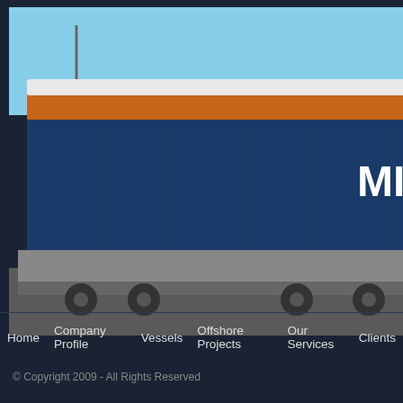[Figure (photo): Large industrial vessel or barge module labeled MINTOX on a heavy transport truck/trailer being transported on a road. A South Boats vehicle is visible on the right side.]
Modu
Launching carrying tonnes road fo
Ove
Inte
Find ou
Products 1 to 3 of 3
Home   Company Profile   Vessels   Offshore Projects   Our Services   Clients
© Copyright 2009 - All Rights Reserved